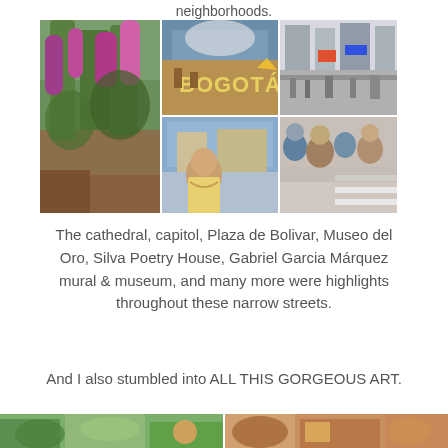neighborhoods.
[Figure (photo): Collage of 5 photos from Bogotá: lush green garden with pink flowers on left, Bogotá city sign in middle top, a busy Bogotá street in top right, a selfie at Plaza de Bolivar in middle bottom, and a crowded street scene in bottom right.]
The cathedral, capitol, Plaza de Bolivar, Museo del Oro, Silva Poetry House, Gabriel Garcia Márquez mural & museum, and many more were highlights throughout these narrow streets.
And I also stumbled into ALL THIS GORGEOUS ART.
[Figure (photo): Two partial photos at the bottom of the page showing colorful artwork or scenes.]